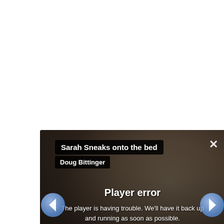[Figure (screenshot): A video player showing a bedroom scene with a cat on a bed. The player displays a 'Player error' message overlaid on the darkened video. Navigation arrows appear on left and right sides. An 'X' close button is in the top-right. Two black label boxes in the top-left show the video title 'Sarah Sneaks onto the bed' and author 'Doug Bittinger'. The error message reads 'Player error' and 'The player is having trouble. We'll have it back up and running as soon as possible.' Faint subtitle text reads 'normally rests' in italics.]